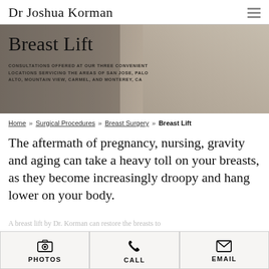Dr Joshua Korman
[Figure (photo): Hero banner with woman with dark hair, decorative wallpaper background. Text overlay: 'Breast Lift' and subtitle about consultations at three locations.]
Breast Lift
CONSULTATIONS OFFERED AT OUR THREE CONVENIENT LOCATIONS SERVICING THE AREAS OF SAN JOSE, PALO ALTO, MOUNTAIN VIEW, CARMEL, AND MONTEREY, CA
Home » Surgical Procedures » Breast Surgery » Breast Lift
The aftermath of pregnancy, nursing, gravity and aging can take a heavy toll on your breasts, as they become increasingly droopy and hang lower on your body.
A breast lift by Dr. Korman can restore the breasts to